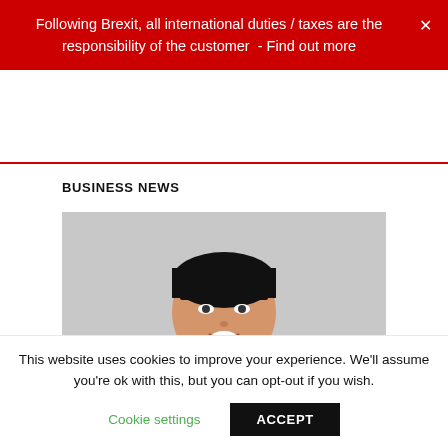Following Brexit, all international duties / taxes are the responsibility of the customer - Find out more
BUSINESS NEWS
[Figure (photo): Headshot of a woman with short dark hair and bangs, wearing a dark navy blazer, smiling against a light grey background. Author avatar and byline 'Vanessa | 11TH AUG 2021' visible at bottom.]
This website uses cookies to improve your experience. We'll assume you're ok with this, but you can opt-out if you wish.
Cookie settings   ACCEPT